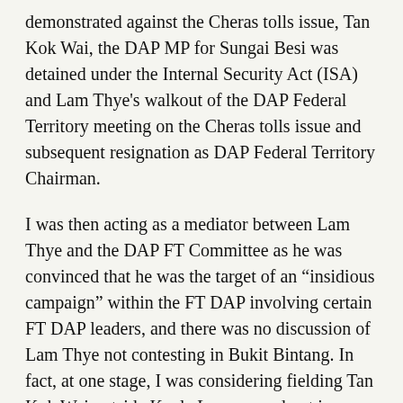demonstrated against the Cheras tolls issue, Tan Kok Wai, the DAP MP for Sungai Besi was detained under the Internal Security Act (ISA) and Lam Thye's walkout of the DAP Federal Territory meeting on the Cheras tolls issue and subsequent resignation as DAP Federal Territory Chairman.
I was then acting as a mediator between Lam Thye and the DAP FT Committee as he was convinced that he was the target of an “insidious campaign” within the FT DAP involving certain FT DAP leaders, and there was no discussion of Lam Thye not contesting in Bukit Bintang. In fact, at one stage, I was considering fielding Tan Kok Wai outside Kuala Lumpur and not in Cheras.
Furthermore, if It is true that I had told Lam Thye that he was not to be nominated for Bukit Bintang constituency, it would be impossible to keep the news under wrap for 32 years – inside and outside the DAP!